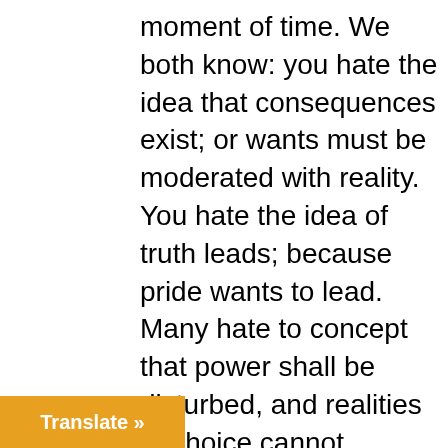moment of time. We both know: you hate the idea that consequences exist; or wants must be moderated with reality. You hate the idea of truth leads; because pride wants to lead. Many hate to concept that power shall be disturbed, and realities of choice cannot continue: because they worship that power. Most hate that the universities cannot be god anymore/ and will fight it. Women want what they want; and mostly they want men to pay for what they want: and don't
Translate »